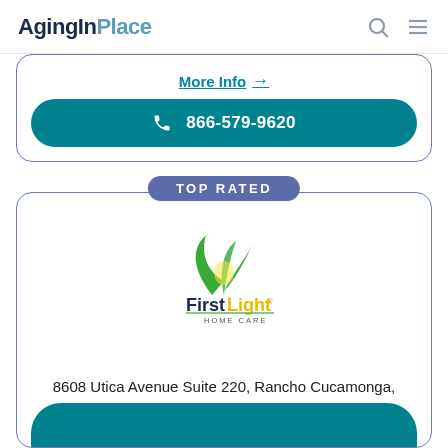AgingInPlace
More Info →
866-579-9620
TOP RATED
[Figure (logo): FirstLight Home Care logo with green leaf graphic and company name]
8608 Utica Avenue Suite 220, Rancho Cucamonga, CA 91730
More Info →